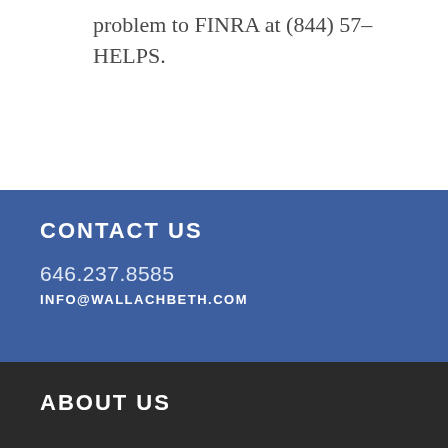problem to FINRA at (844) 57-HELPS.
CONTACT US
646.237.8585
INFO@WALLACHBETH.COM
ABOUT US